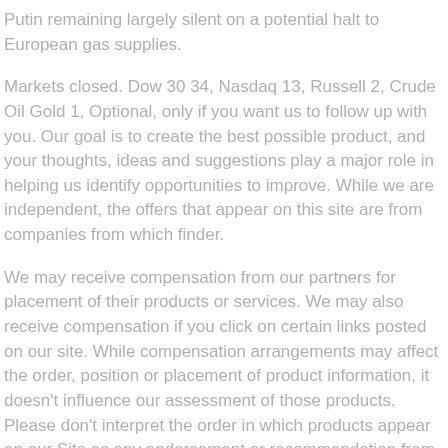Putin remaining largely silent on a potential halt to European gas supplies.
Markets closed. Dow 30 34, Nasdaq 13, Russell 2, Crude Oil Gold 1, Optional, only if you want us to follow up with you. Our goal is to create the best possible product, and your thoughts, ideas and suggestions play a major role in helping us identify opportunities to improve. While we are independent, the offers that appear on this site are from companies from which finder.
We may receive compensation from our partners for placement of their products or services. We may also receive compensation if you click on certain links posted on our site. While compensation arrangements may affect the order, position or placement of product information, it doesn't influence our assessment of those products. Please don't interpret the order in which products appear on our Site as any endorsement or recommendation from us. Please appreciate that there may be other options available to you than the products, providers or services covered by our service.